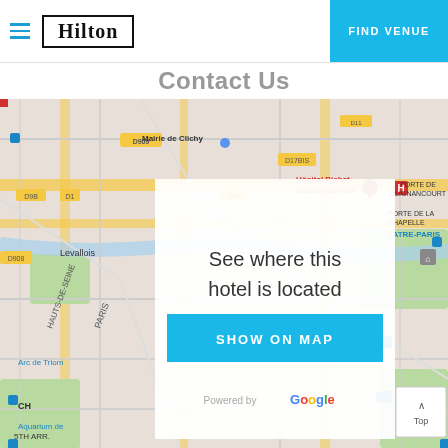Hilton | FIND VENUE
See where this hotel is located
SHOW ON MAP
[Figure (map): Google Map showing Paris area with landmarks: Mairie de Clichy, Hôpital Bichat-Claude-Bernard, Porte de Clignancourt, Porte de la Chapelle, Levallois, Hauts-de-Seine, Arc de Triomhe, Aquarium de, 5th ARR area. Powered by Google.]
Powered by Google